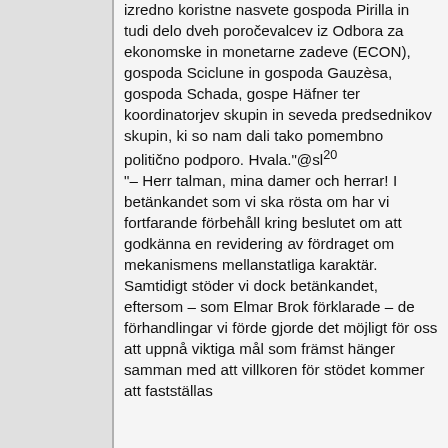izredno koristne nasvete gospoda Pirilla in tudi delo dveh poročevalcev iz Odbora za ekonomske in monetarne zadeve (ECON), gospoda Sciclune in gospoda Gauzèsa, gospoda Schada, gospe Häfner ter koordinatorjev skupin in seveda predsednikov skupin, ki so nam dali tako pomembno politično podporo. Hvala."@sl²⁰ "– Herr talman, mina damer och herrar! I betänkandet som vi ska rösta om har vi fortfarande förbehåll kring beslutet om att godkänna en revidering av fördraget om mekanismens mellanstatliga karaktär. Samtidigt stöder vi dock betänkandet, eftersom – som Elmar Brok förklarade – de förhandlingar vi förde gjorde det möjligt för oss att uppnå viktiga mål som främst hänger samman med att villkoren för stödet kommer att fastställas